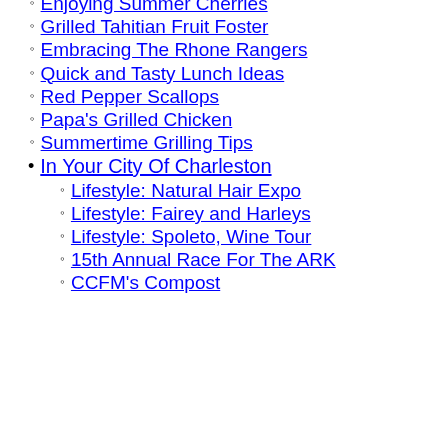Enjoying Summer Cherries
Grilled Tahitian Fruit Foster
Embracing The Rhone Rangers
Quick and Tasty Lunch Ideas
Red Pepper Scallops
Papa's Grilled Chicken
Summertime Grilling Tips
In Your City Of Charleston
Lifestyle: Natural Hair Expo
Lifestyle: Fairey and Harleys
Lifestyle: Spoleto, Wine Tour
15th Annual Race For The ARK
CCFM's Compost